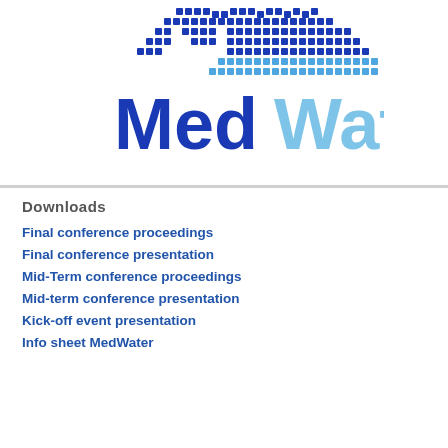[Figure (logo): MedWater logo with pixelated blue map of Mediterranean region above the text 'MedWater' where 'Med' is dark blue and 'Water' is light blue]
Downloads
Final conference proceedings
Final conference presentation
Mid-Term conference proceedings
Mid-term conference presentation
Kick-off event presentation
Info sheet MedWater